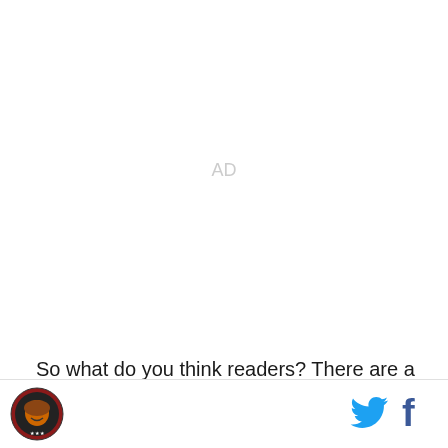[Figure (other): Advertisement placeholder area with 'AD' text in light gray]
So what do you think readers?  There are a lot of
(second line partially visible, truncated)
[Figure (logo): Sports blog logo circle with mascot image in bottom left footer]
[Figure (other): Twitter bird icon in cyan/blue color in bottom right footer]
[Figure (other): Facebook 'f' icon in blue in bottom right footer]